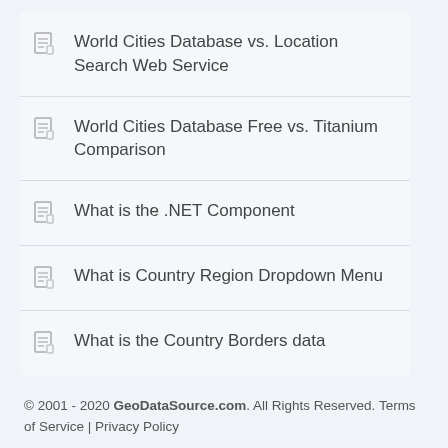World Cities Database vs. Location Search Web Service
World Cities Database Free vs. Titanium Comparison
What is the .NET Component
What is Country Region Dropdown Menu
What is the Country Borders data
© 2001 - 2020 GeoDataSource.com. All Rights Reserved. Terms of Service | Privacy Policy